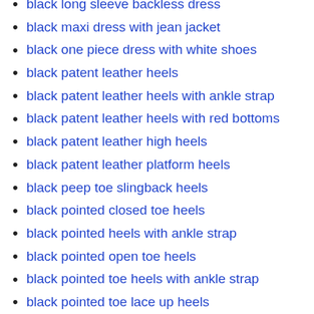black long sleeve backless dress
black maxi dress with jean jacket
black one piece dress with white shoes
black patent leather heels
black patent leather heels with ankle strap
black patent leather heels with red bottoms
black patent leather high heels
black patent leather platform heels
black peep toe slingback heels
black pointed closed toe heels
black pointed heels with ankle strap
black pointed open toe heels
black pointed toe heels with ankle strap
black pointed toe lace up heels
black prom dress with red accessories